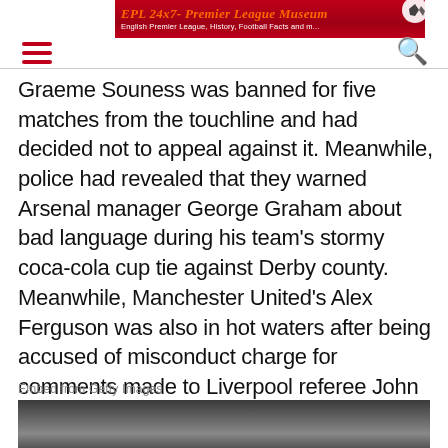EPL 24x7 - Premier League Museum | English Premier League, History, Football Facts and more
Graeme Souness was banned for five matches from the touchline and had decided not to appeal against it. Meanwhile, police had revealed that they warned Arsenal manager George Graham about bad language during his team's stormy coca-cola cup tie against Derby county. Meanwhile, Manchester United's Alex Ferguson was also in hot waters after being accused of misconduct charge for comments made to Liverpool referee John Richardson during a reserve match against Sunderland. The FA said they were looking into the matter and had asked for a reply from Alex Ferguson.
Embed from Getty Images
[Figure (photo): Partial image of a football scene, mostly dark/grey tones, partially visible at bottom of page]